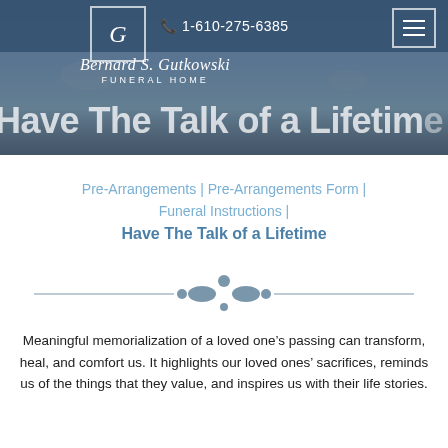[Figure (screenshot): Website header with blue navigation bar showing logo G for Bernard S. Gutkowski Funeral Home, phone number 1-610-275-6385, hamburger menu icon, and partially visible hero image with text 'Have The Talk of a Lifetime']
Pre-Arrangements | Pre-Arrangements Form | Funeral Instructions | Have The Talk of a Lifetime
[Figure (illustration): Decorative ornamental divider with floral/leaf motif in steel blue color with horizontal lines]
Meaningful memorialization of a loved one’s passing can transform, heal, and comfort us. It highlights our loved ones’ sacrifices, reminds us of the things that they value, and inspires us with their life stories.